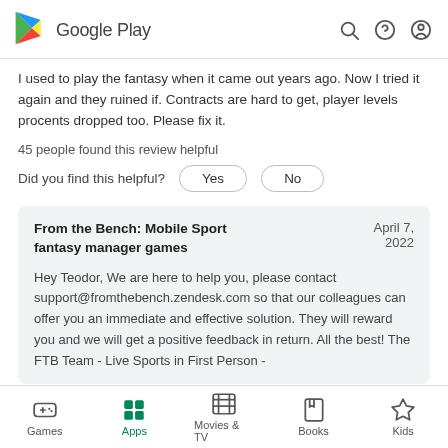Google Play
I used to play the fantasy when it came out years ago. Now I tried it again and they ruined if. Contracts are hard to get, player levels procents dropped too. Please fix it.
45 people found this review helpful
Did you find this helpful?  Yes  No
From the Bench: Mobile Sport fantasy manager games  April 7, 2022
Hey Teodor, We are here to help you, please contact support@fromthebench.zendesk.com so that our colleagues can offer you an immediate and effective solution. They will reward you and we will get a positive feedback in return. All the best! The FTB Team - Live Sports in First Person -
Games  Apps  Movies & TV  Books  Kids